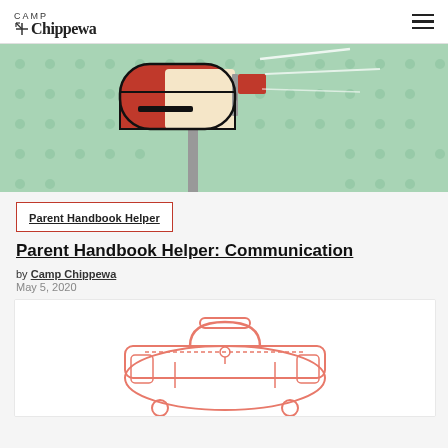Camp Chippewa
[Figure (illustration): Comic-style illustration of a red mailbox with flag up on a green halftone background]
Parent Handbook Helper
Parent Handbook Helper: Communication
by Camp Chippewa
May 5, 2020
[Figure (illustration): Line drawing illustration of a camp duffel bag in pink/salmon color]